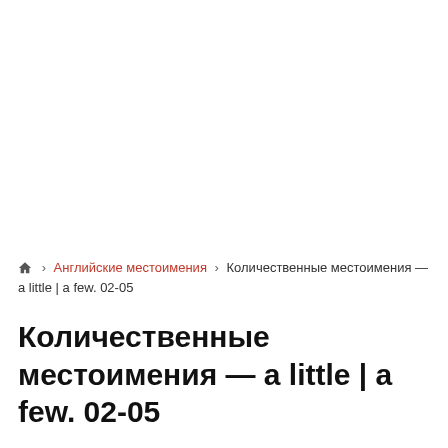🏠 › Английские местоимения › Количественные местоимения — a little | a few. 02-05
Количественные местоимения — a little | a few. 02-05